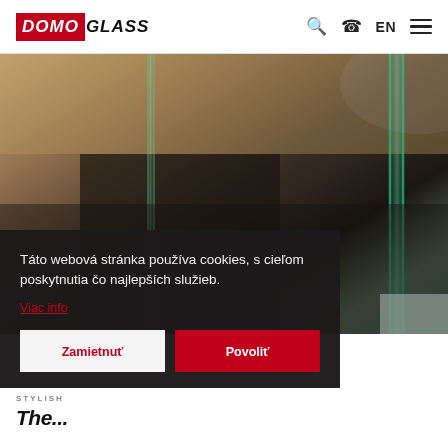DOMOGLASS | Search | Phone | EN | Menu
[Figure (photo): Interior photo showing glass panels/dividers in what appears to be a reception or counter area. Multiple glass panels visible, one with a distinct green-tinted edge. Dark blurred background with warm wood tones.]
Táto webová stránka používa cookies, s cieľom poskytnutia čo najlepších služieb.
Viac info
Zamietnuť
Povoliť
STYLISH
The...